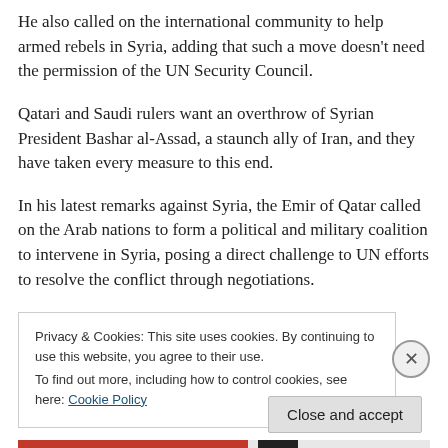He also called on the international community to help armed rebels in Syria, adding that such a move doesn't need the permission of the UN Security Council.
Qatari and Saudi rulers want an overthrow of Syrian President Bashar al-Assad, a staunch ally of Iran, and they have taken every measure to this end.
In his latest remarks against Syria, the Emir of Qatar called on the Arab nations to form a political and military coalition to intervene in Syria, posing a direct challenge to UN efforts to resolve the conflict through negotiations.
Privacy & Cookies: This site uses cookies. By continuing to use this website, you agree to their use.
To find out more, including how to control cookies, see here: Cookie Policy
Close and accept